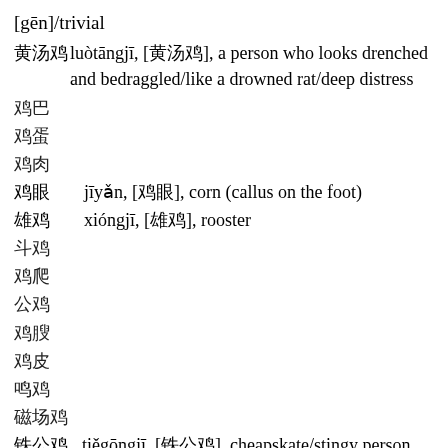[gēn]/trivial
落汤鸡   luòtāngjī, [落汤鸡], a person who looks drenched and bedraggled/like a drowned rat/deep distress
鸡巴
鸡蛋
鸡肉
鸡眼   jīyǎn, [鸡眼], corn (callus on the foot)
雄鸡   xióngjī, [雄鸡], rooster
斗鸡
鸡爪
公鸡
鸡腿
鸡皮
鸭鸡
磁场鸡
铁公鸡   tiěgōngjī, [铁公鸡], cheapskate/stingy person